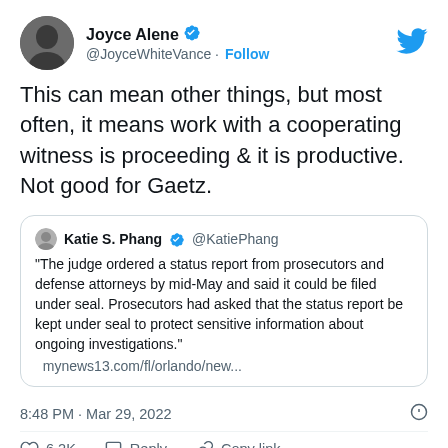[Figure (screenshot): Tweet by Joyce Alene (@JoyceWhiteVance) with verified badge, profile photo, and Twitter bird logo in header]
This can mean other things, but most often, it means work with a cooperating witness is proceeding & it is productive. Not good for Gaetz.
Katie S. Phang @KatiePhang
"The judge ordered a status report from prosecutors and defense attorneys by mid-May and said it could be filed under seal. Prosecutors had asked that the status report be kept under seal to protect sensitive information about ongoing investigations." mynews13.com/fl/orlando/new...
8:48 PM · Mar 29, 2022
6.2K   Reply   Copy link
Read 170 replies